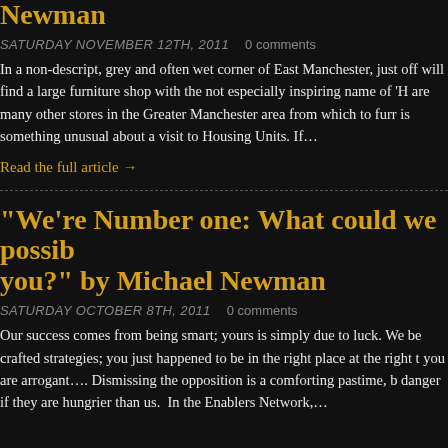Newman
SATURDAY NOVEMBER 12TH, 2011   0 comments
In a non-descript, grey and often wet corner of East Manchester, just off ... will find a large furniture shop with the not especially inspiring name of 'H... are many other stores in the Greater Manchester area from which to furn... is something unusual about a visit to Housing Units. If…
Read the full article →
“We’re Number one: What could we possibl... you?” by Michael Newman
SATURDAY OCTOBER 8TH, 2011   0 comments
Our success comes from being smart; yours is simply due to luck. We be... crafted strategies; you just happened to be in the right place at the right t... you are arrogant…. Dismissing the opposition is a comforting pastime, b... danger if they are hungrier than us.  In the Enablers Network,…